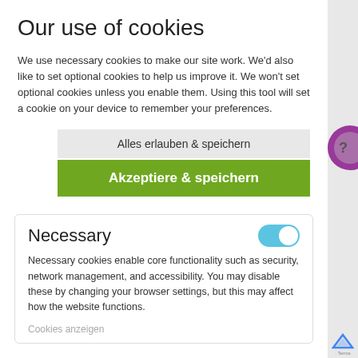Our use of cookies
We use necessary cookies to make our site work. We'd also like to set optional cookies to help us improve it. We won't set optional cookies unless you enable them. Using this tool will set a cookie on your device to remember your preferences.
Alles erlauben & speichern
Akzeptiere & speichern
Necessary
Necessary cookies enable core functionality such as security, network management, and accessibility. You may disable these by changing your browser settings, but this may affect how the website functions.
Cookies anzeigen